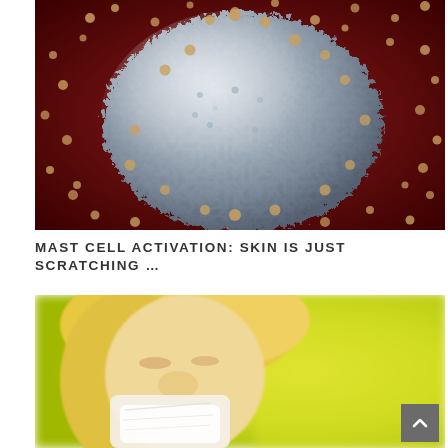[Figure (photo): 3D illustration of a mast cell (silver/metallic textured sphere) surrounded by small golden granules being released, against a dark red background. Scientific/medical visualization.]
MAST CELL ACTIVATION: SKIN IS JUST SCRATCHING ...
[Figure (photo): Photograph of a blonde woman blowing her nose into a white tissue, with a blurred yellow background (possibly flowers/pollen), suggesting allergy symptoms.]